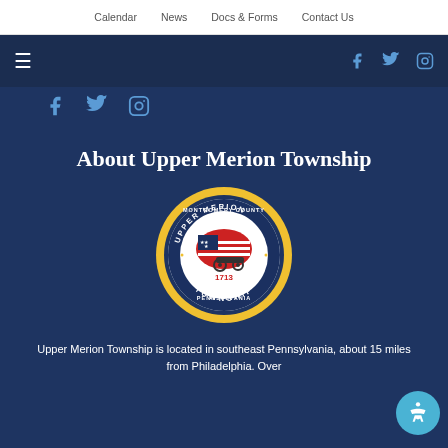Calendar  News  Docs & Forms  Contact Us
[Figure (screenshot): Dark navigation bar with hamburger menu icon on the left and Facebook, Twitter, Instagram social icons on the right]
[Figure (screenshot): Social media icon row showing Facebook, Twitter, Instagram icons in blue on dark navy background]
About Upper Merion Township
[Figure (logo): Upper Merion Township official seal - circular seal with text 'UPPER MERION MONTGOMERY COUNTY PENNSYLVANIA TOWNSHIP 1713' surrounding an image of a colonial cannon with American flag]
Upper Merion Township is located in southeast Pennsylvania, about 15 miles from Philadelphia. Over